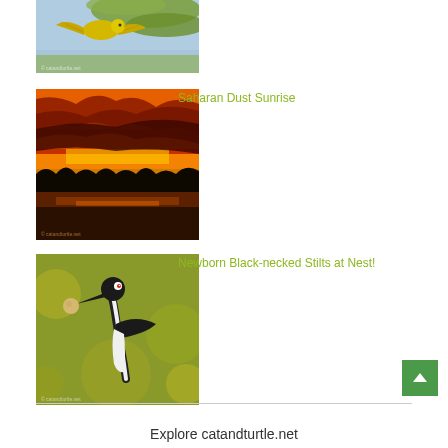[Figure (photo): Yellow bird (warbler) in flight near green willow leaves against blue sky]
[Figure (photo): Dramatic Saharan dust sunrise with fiery red-orange clouds over a flat wetland/lake landscape]
Saharan Dust Sunrise
[Figure (photo): Close-up of a Black-necked Stilt bird holding a small round egg or pebble in its beak, with blurred green/yellow bokeh background]
Newborn Black-necked Stilts at Nest!
Explore catandturtle.net